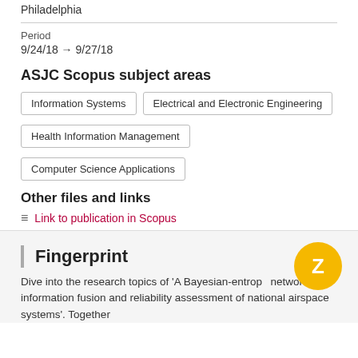Philadelphia
Period
9/24/18 → 9/27/18
ASJC Scopus subject areas
Information Systems
Electrical and Electronic Engineering
Health Information Management
Computer Science Applications
Other files and links
Link to publication in Scopus
Fingerprint
Dive into the research topics of 'A Bayesian-entropy network for information fusion and reliability assessment of national airspace systems'. Together